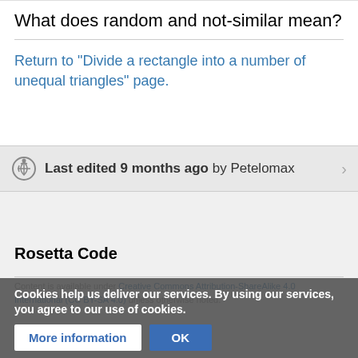What does random and not-similar mean?
Return to "Divide a rectangle into a number of unequal triangles" page.
Last edited 9 months ago by Petelomax
Rosetta Code
Content is available under Creative Commons Attribution-ShareAlike 4.0 International (CC BY-SA 4.0) unless otherwise noted.
Privacy policy
Cookies help us deliver our services. By using our services, you agree to our use of cookies.
More information
OK